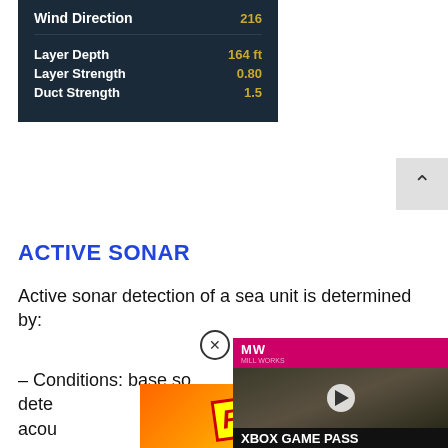[Figure (screenshot): Dark panel showing sonar/environmental data: Wind Direction 216, Layer Depth 164 ft, Layer Strength 0.80, Duct Strength 1.5]
ACTIVE SONAR
Active sonar detection of a sea unit is determined by:
– Conditions: base sonar determined by acou...
[Figure (screenshot): Advertisement overlay: FAIL meme image (left) and Xbox Game Pass September 2022 ad (right)]